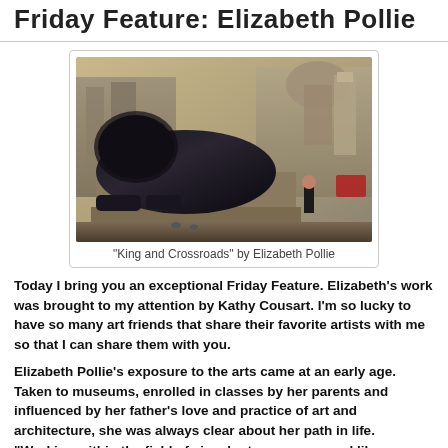Friday Feature: Elizabeth Pollie
[Figure (photo): Painting titled 'King and Crossroads' by Elizabeth Pollie, showing a large bronze lion statue in Trafalgar Square with a man walking past, classic London buildings in the background.]
"King and Crossroads" by Elizabeth Pollie
Today I bring you an exceptional Friday Feature.  Elizabeth's work was brought to my attention by Kathy Cousart.  I'm so lucky to have so many art friends that share their favorite artists with me so that I can share them with you.
Elizabeth Pollie's exposure to the arts came at an early age. Taken to museums, enrolled in classes by her parents and influenced by her father's love and practice of art and architecture, she was always clear about her path in life. "Working within the field of visual arts never seemed like a